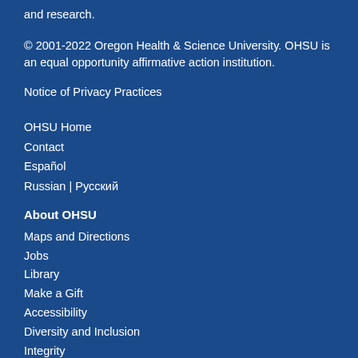and research.
© 2001-2022 Oregon Health & Science University. OHSU is an equal opportunity affirmative action institution.
Notice of Privacy Practices
OHSU Home
Contact
Español
Russian | Русский
About OHSU
Maps and Directions
Jobs
Library
Make a Gift
Accessibility
Diversity and Inclusion
Integrity